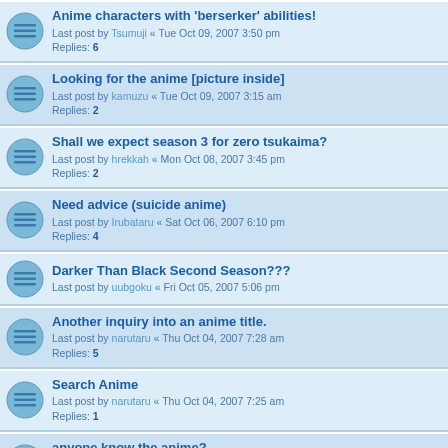Anime characters with 'berserker' abilities! Last post by Tsumuji « Tue Oct 09, 2007 3:50 pm Replies: 6
Looking for the anime [picture inside] Last post by kamuzu « Tue Oct 09, 2007 3:15 am Replies: 2
Shall we expect season 3 for zero tsukaima? Last post by hrekkah « Mon Oct 08, 2007 3:45 pm Replies: 2
Need advice (suicide anime) Last post by Irubataru « Sat Oct 06, 2007 6:10 pm Replies: 4
Darker Than Black Second Season??? Last post by uubgoku « Fri Oct 05, 2007 5:06 pm
Another inquiry into an anime title. Last post by narutaru « Thu Oct 04, 2007 7:28 am Replies: 5
Search Anime Last post by narutaru « Thu Oct 04, 2007 7:25 am Replies: 1
anyone know the anime? Last post by narutaru « Thu Oct 04, 2007 7:16 am Replies: 4
Rugby anime Last post by retroactiv « Sun Sep 30, 2007 11:35 pm Replies: 2
Armored gear anime. Last post by Shinnew « Sun Sep 30, 2007 10:43 am